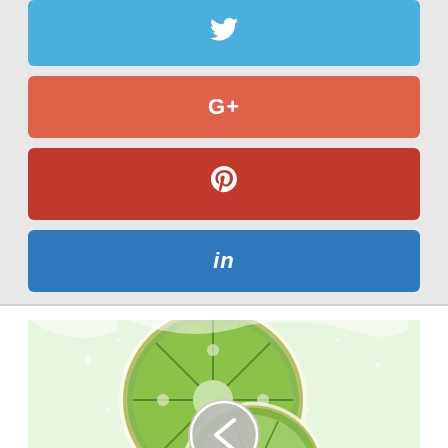[Figure (screenshot): Twitter social share button (blue)]
[Figure (screenshot): Google+ social share button (red-orange)]
[Figure (screenshot): Pinterest social share button (dark red)]
[Figure (screenshot): LinkedIn social share button (blue)]
[Figure (photo): Photo of lime slices and straws in sparkling water with a circular back navigation arrow overlay]
Best Soda Makers